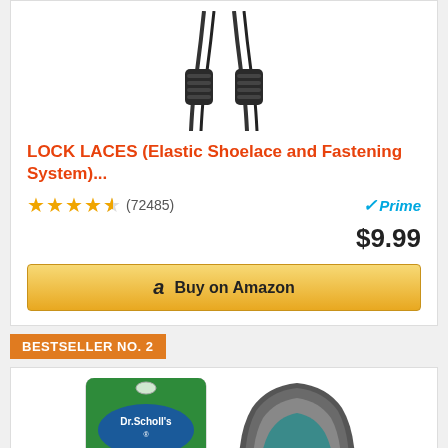[Figure (photo): Black elastic lock laces with cord lock clips, shown from above on white background]
LOCK LACES (Elastic Shoelace and Fastening System)...
★★★★½ (72485) Prime $9.99
Buy on Amazon
BESTSELLER NO. 2
[Figure (photo): Dr. Scholl's Athletic Series Running Insoles product packaging (green and white) next to an insole shown from above]